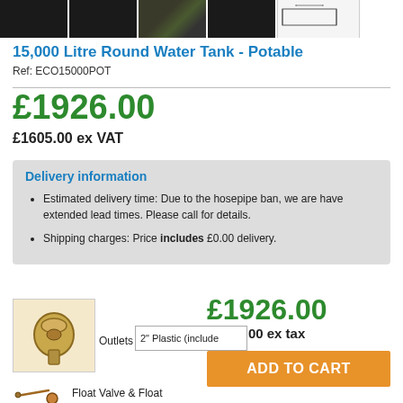[Figure (photo): Row of product thumbnail images showing the 15000 Litre Round Water Tank from multiple angles plus a schematic diagram]
15,000 Litre Round Water Tank - Potable
Ref: ECO15000POT
£1926.00
£1605.00 ex VAT
Delivery information
Estimated delivery time: Due to the hosepipe ban, we are have extended lead times. Please call for details.
Shipping charges: Price includes £0.00 delivery.
£1926.00
£1605.00 ex tax
[Figure (photo): Brass outlet fitting product image]
Outlets: 2" Plastic (include
ADD TO CART
[Figure (photo): Float Valve & Float product image]
Float Valve & Float